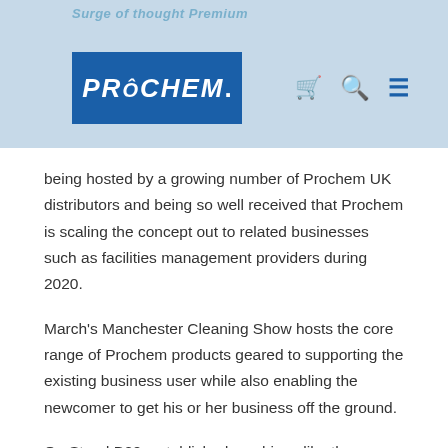Surge of thought Premium
[Figure (logo): Prochem logo — white italic bold text on dark blue rectangle background]
being hosted by a growing number of Prochem UK distributors and being so well received that Prochem is scaling the concept out to related businesses such as facilities management providers during 2020.
March's Manchester Cleaning Show hosts the core range of Prochem products geared to supporting the existing business user while also enabling the newcomer to get his or her business off the ground.
On Stand B20, established machines like the Fivestar walk-behind extractors as well as the high-powered Endeavor 500 and Polaris 500 are complemented by